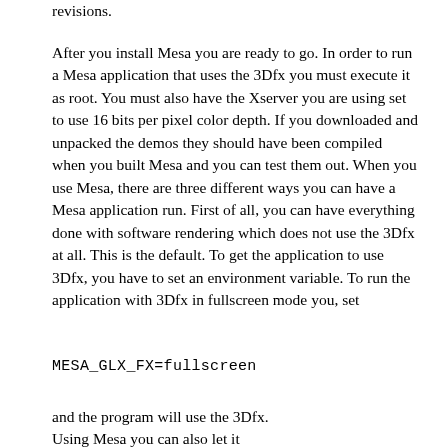revisions.
After you install Mesa you are ready to go. In order to run a Mesa application that uses the 3Dfx you must execute it as root. You must also have the Xserver you are using set to use 16 bits per pixel color depth. If you downloaded and unpacked the demos they should have been compiled when you built Mesa and you can test them out. When you use Mesa, there are three different ways you can have a Mesa application run. First of all, you can have everything done with software rendering which does not use the 3Dfx at all. This is the default. To get the application to use 3Dfx, you have to set an environment variable. To run the application with 3Dfx in fullscreen mode you, set
MESA_GLX_FX=fullscreen
and the program will use the 3Dfx.
Using Mesa you can also let it